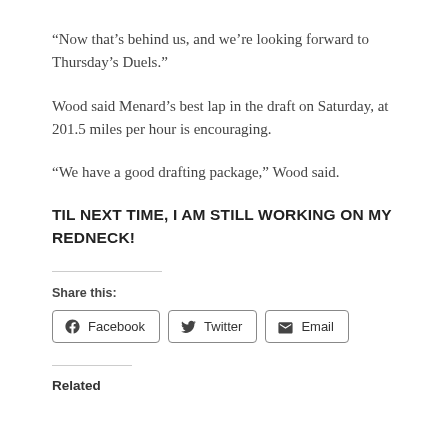“Now that’s behind us, and we’re looking forward to Thursday’s Duels.”
Wood said Menard’s best lap in the draft on Saturday, at 201.5 miles per hour is encouraging.
“We have a good drafting package,” Wood said.
TIL NEXT TIME, I AM STILL WORKING ON MY REDNECK!
Share this:
Facebook  Twitter  Email
Related